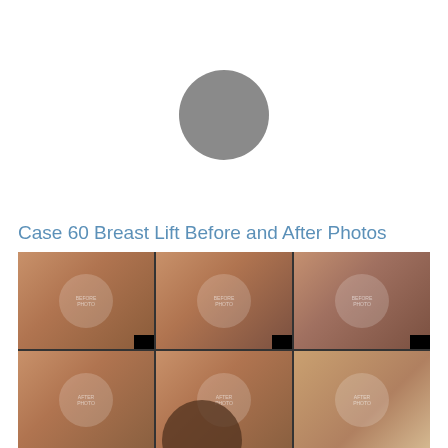[Figure (other): Gray circle placeholder/avatar at top center of page]
Case 60 Breast Lift Before and After Photos
[Figure (photo): Grid of 6 before and after breast lift surgical photos arranged in 2 rows and 3 columns (front, oblique, and side views). Privacy circles overlay faces/identifying features. Watermarks present on each photo.]